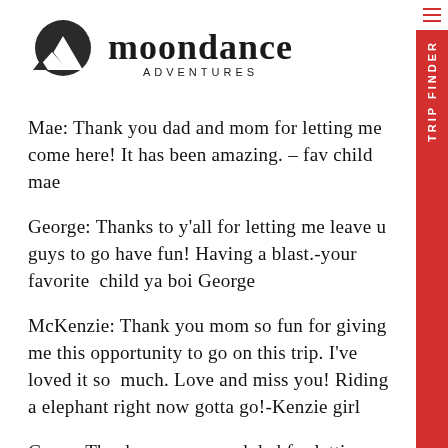[Figure (logo): Moondance Adventures logo with mountain/moon icon and wordmark]
Mae: Thank you dad and mom for letting me come here! It has been amazing. – fav child mae
George: Thanks to y'all for letting me leave u guys to go have fun! Having a blast.-your favorite  child ya boi George
McKenzie: Thank you mom so fun for giving me this opportunity to go on this trip. I've loved it so  much. Love and miss you! Riding a elephant right now gotta go!-Kenzie girl
Grace: Thank you mom and dad for letting me